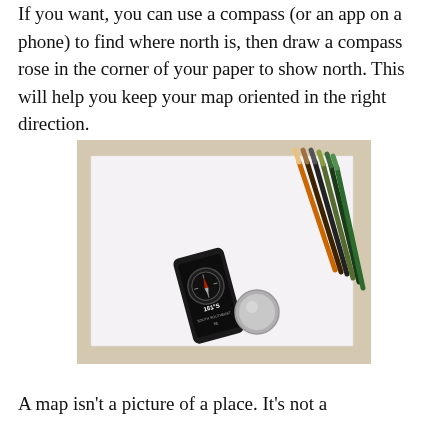If you want, you can use a compass (or an app on a phone) to find where north is, then draw a compass rose in the corner of your paper to show north. This will help you keep your map oriented in the right direction.
[Figure (photo): A photograph taken from above showing a white sheet of paper on a tan/beige surface. On the paper sits a black smartphone displaying a compass app showing 161°S, a metal compass tin/lid, and a group of colored pencils fanned out in the upper right.]
A map isn't a picture of a place. It's not a